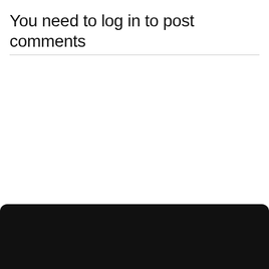You need to log in to post comments
[Figure (infographic): Purple advertisement banner with text 'Content made to engage, added to your site with ease', a pink 'Learn More' button, geometric line decorations, and a cyan X close button in the top right corner.]
[Figure (photo): Dark black panel at the bottom of the page, partially visible, appearing to be a dark-themed video or media player interface.]